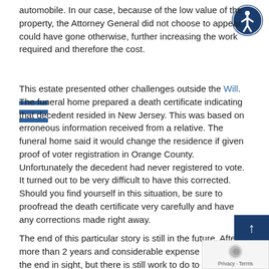automobile. In our case, because of the low value of the property, the Attorney General did not choose to appear. could have gone otherwise, further increasing the work required and therefore the cost.
[Figure (other): Accessibility icon — person in circle, dark blue background]
[Figure (other): Hamburger menu icon — three horizontal blue bars]
This estate presented other challenges outside the Will. The funeral home prepared a death certificate indicating that decedent resided in New Jersey. This was based on erroneous information received from a relative. The funeral home said it would change the residence if given proof of voter registration in Orange County. Unfortunately the decedent had never registered to vote. It turned out to be very difficult to have this corrected. Should you find yourself in this situation, be sure to proofread the death certificate very carefully and have any corrections made right away.
The end of this particular story is still in the future. After more than 2 years and considerable expense we can see the end in sight, but there is still work to do to close this estate.
If you decide to make a Will, good for you, you are doing [something good] by your family. But be sure to do it right, and don't do it yourself.
[Figure (other): Back-to-top button — dark blue rectangle with upward arrow]
[Figure (other): Google reCAPTCHA badge with Privacy · Terms text]